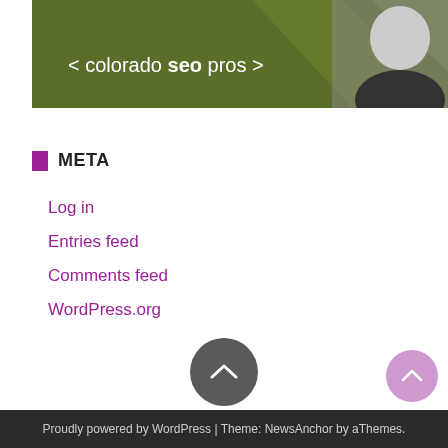[Figure (screenshot): Colorado SEO Pros website banner with dark green background, angled geometric design, bold text '< colorado seo pros >' in white, and a black-and-white photo of a smiling man on the right side.]
META
Log in
Entries feed
Comments feed
WordPress.org
Proudly powered by WordPress | Theme: NewsAnchor by aThemes.